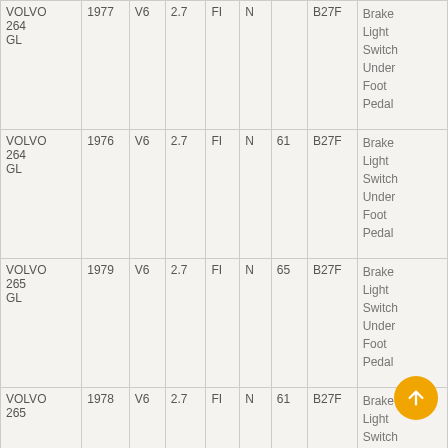| Make/Model | Year | Cyl | Eng | Fuel | N | Num | Part | Description |
| --- | --- | --- | --- | --- | --- | --- | --- | --- |
| VOLVO 264 GL | 1977 | V6 | 2.7 | FI | N |  | B27F | Brake Light Switch Under Foot Pedal |
| VOLVO 264 GL | 1976 | V6 | 2.7 | FI | N | 61 | B27F | Brake Light Switch Under Foot Pedal |
| VOLVO 265 GL | 1979 | V6 | 2.7 | FI | N | 65 | B27F | Brake Light Switch Under Foot Pedal |
| VOLVO 265 | 1978 | V6 | 2.7 | FI | N | 61 | B27F | Brake Light Switch Under... |